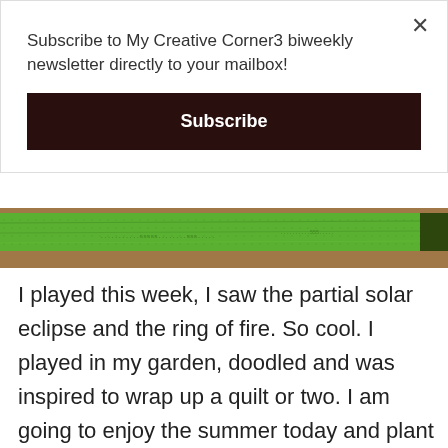Subscribe to My Creative Corner3 biweekly newsletter directly to your mailbox!
Subscribe
[Figure (photo): Close-up photo of a bright green fabric or quilt material strip against a brown background, showing texture and pattern details.]
I played this week, I saw the partial solar eclipse and the ring of fire. So cool. I played in my garden, doodled and was inspired to wrap up a quilt or two. I am going to enjoy the summer today and plant some wildflower seeds.